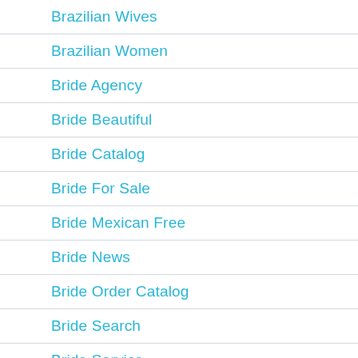Brazilian Wives
Brazilian Women
Bride Agency
Bride Beautiful
Bride Catalog
Bride For Sale
Bride Mexican Free
Bride News
Bride Order Catalog
Bride Search
Bride Service
brides
Brides For Sale